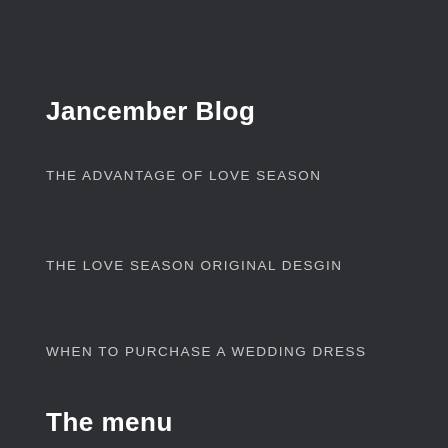Jancember Blog
THE ADVANTAGE OF LOVE SEASON
THE LOVE SEASON ORIGINAL DESGIN
WHEN TO PURCHASE A WEDDING DRESS
The menu